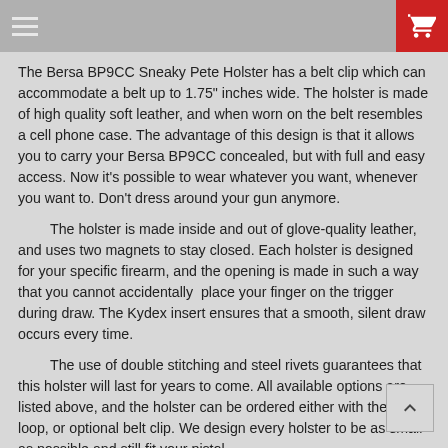navigation bar with hamburger menu and cart button
The Bersa BP9CC Sneaky Pete Holster has a belt clip which can accommodate a belt up to 1.75" inches wide.  The holster is made of high quality soft leather, and when worn on the belt resembles a cell phone case.  The advantage of this design is that it allows you to carry your Bersa BP9CC concealed, but with full and easy access.  Now it's possible to wear whatever you want, whenever you want to.  Don't dress around your gun anymore.
The holster is made inside and out of glove-quality leather, and uses two magnets to stay closed.  Each holster is designed for your specific firearm, and the opening is made in such a way that you cannot accidentally  place your finger on the trigger during draw.  The Kydex insert ensures that a smooth, silent draw occurs every time.
The use of double stitching and steel rivets guarantees that this holster will last for years to come.  All available options are listed above, and the holster can be ordered either with the belt loop, or optional belt clip.  We design every holster to be as small as possible and still fit your pistol.